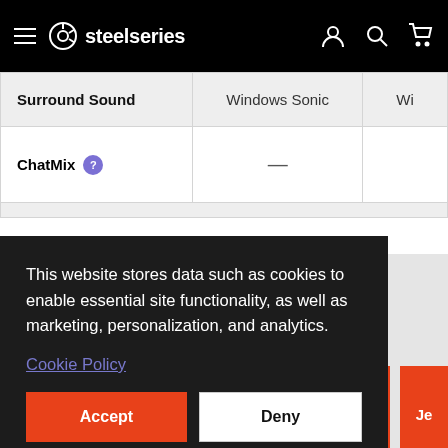SteelSeries navigation bar
| Surround Sound | Windows Sonic | Wi... |
| --- | --- | --- |
| ChatMix ? | — |  |
This website stores data such as cookies to enable essential site functionality, as well as marketing, personalization, and analytics.
Cookie Policy
Accept
Deny